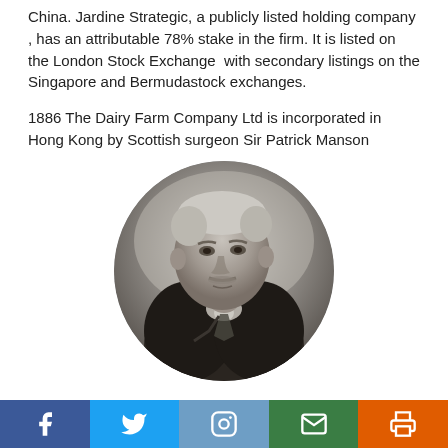China. Jardine Strategic, a publicly listed holding company , has an attributable 78% stake in the firm. It is listed on the London Stock Exchange with secondary listings on the Singapore and Bermudastock exchanges.
1886 The Dairy Farm Company Ltd is incorporated in Hong Kong by Scottish surgeon Sir Patrick Manson
[Figure (photo): Black and white circular portrait photograph of Sir Patrick Manson, an older gentleman with white hair wearing a dark suit.]
Social media share bar with Facebook, Twitter, Instagram, Email, and Print buttons